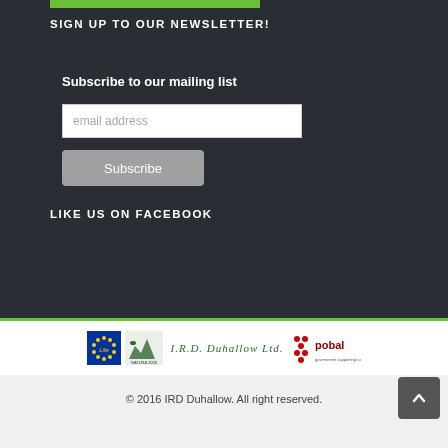SIGN UP TO OUR NEWSLETTER!
Subscribe to our mailing list
email address
Subscribe
LIKE US ON FACEBOOK
[Figure (logo): Partner logos: EU Life logo, Natura 2000 / NATURA logo, I.R.D. Duhallow Ltd. text logo, Pobal logo]
© 2016 IRD Duhallow. All right reserved.